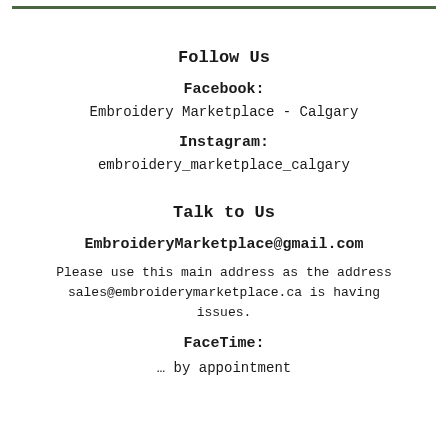Follow Us
Facebook:
Embroidery Marketplace - Calgary
Instagram:
embroidery_marketplace_calgary
Talk to Us
EmbroideryMarketplace@gmail.com
Please use this main address as the address sales@embroiderymarketplace.ca is having issues.
FaceTime:
… by appointment